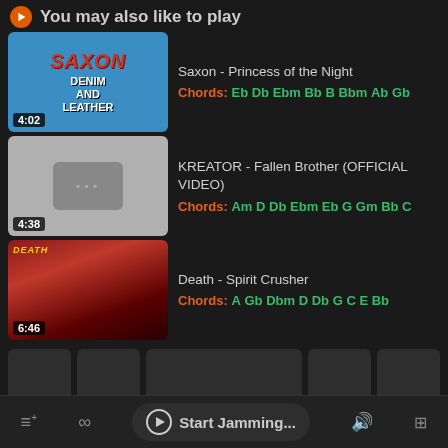You may also like to play
Saxon - Princess of the Night
Chords: Eb Db Ebm Bb B Bbm Ab Gb
KREATOR - Fallen Brother (OFFICIAL VIDEO)
Chords: Am D Db Ebm Eb G Gm Bb C
Death - Spirit Crusher
Chords: A Gb Dbm D Db G C E Bb